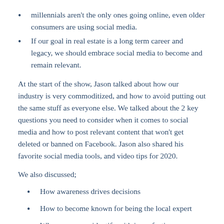millennials aren't the only ones going online, even older consumers are using social media.
If our goal in real estate is a long term career and legacy, we should embrace social media to become and remain relevant.
At the start of the show, Jason talked about how our industry is very commoditized, and how to avoid putting out the same stuff as everyone else. We talked about the 2 key questions you need to consider when it comes to social media and how to post relevant content that won't get deleted or banned on Facebook. Jason also shared his favorite social media tools, and video tips for 2020.
We also discussed;
How awareness drives decisions
How to become known for being the local expert
Why consumers identify with imperfection